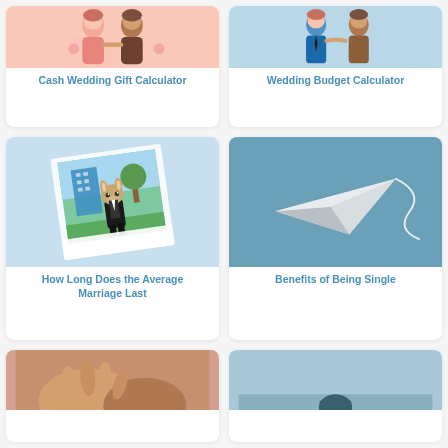[Figure (illustration): Card with illustration of couple (wedding/relationship themed, pink and peach tones)]
Cash Wedding Gift Calculator
[Figure (illustration): Card with illustration of couple budgeting (blue tones, man and woman figures)]
Wedding Budget Calculator
[Figure (illustration): Card with illustration of a cartoon donkey mascot in a suit standing in front of a city, polaroid photo style, light blue background]
How Long Does the Average Marriage Last
[Figure (illustration): Card with paper airplane on steel blue background with white swirl trail]
Benefits of Being Single
[Figure (photo): Partial card showing hands/person, skin tones, bottom of page]
[Figure (photo): Partial card showing sky/horizon, bottom of page]